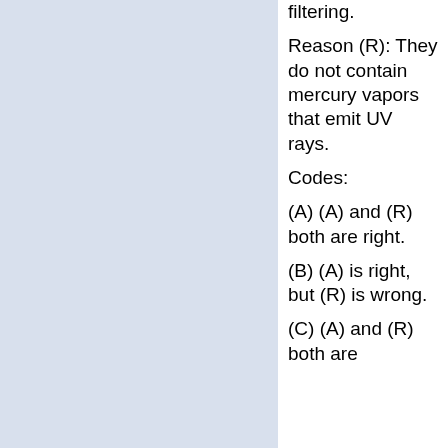[Figure (other): Light blue/grey background panel on the left side of the page]
filtering.
Reason (R): They do not contain mercury vapors that emit UV rays.
Codes:
(A) (A) and (R) both are right.
(B) (A) is right, but (R) is wrong.
(C) (A) and (R) both are